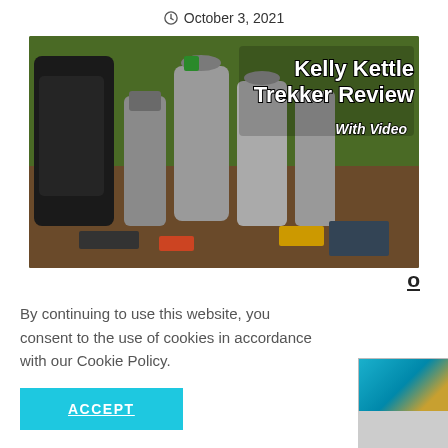October 3, 2021
[Figure (photo): Photo of Kelly Kettle Trekker camping gear including stainless steel kettles and other outdoor equipment laid out on a table with grass in background. Overlaid text reads 'Kelly Kettle Trekker Review' and 'With Video'.]
By continuing to use this website, you consent to the use of cookies in accordance with our Cookie Policy.
ACCEPT